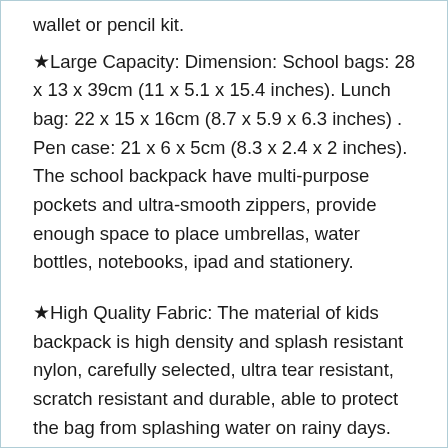wallet or pencil kit.
★Large Capacity: Dimension: School bags: 28 x 13 x 39cm (11 x 5.1 x 15.4 inches). Lunch bag: 22 x 15 x 16cm (8.7 x 5.9 x 6.3 inches) . Pen case: 21 x 6 x 5cm (8.3 x 2.4 x 2 inches). The school backpack have multi-purpose pockets and ultra-smooth zippers, provide enough space to place umbrellas, water bottles, notebooks, ipad and stationery.
★High Quality Fabric: The material of kids backpack is high density and splash resistant nylon, carefully selected, ultra tear resistant, scratch resistant and durable, able to protect the bag from splashing water on rainy days.
★Ergonomic Design: The school backpack designed with S-shape, padded sponge shoulder